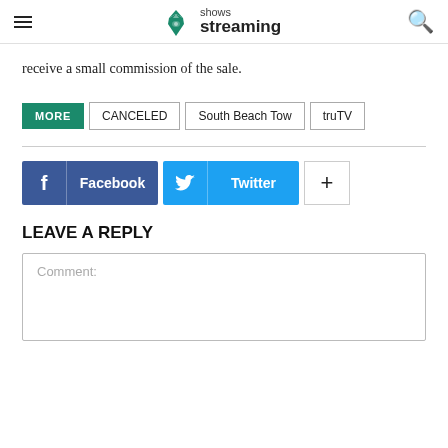shows streaming
receive a small commission of the sale.
MORE | CANCELED | South Beach Tow | truTV
[Figure (other): Social share buttons: Facebook, Twitter, and a plus button]
LEAVE A REPLY
Comment: